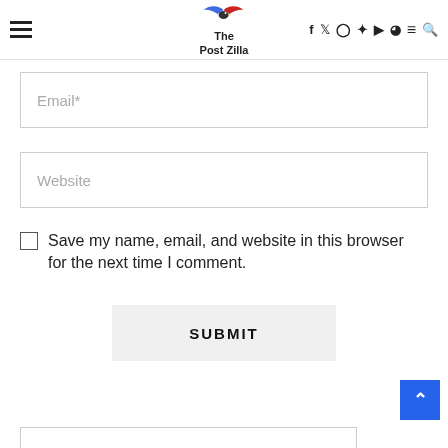The Post Zilla navigation header with hamburger menu, logo, social icons, and search
Email*
Website
Save my name, email, and website in this browser for the next time I comment.
SUBMIT